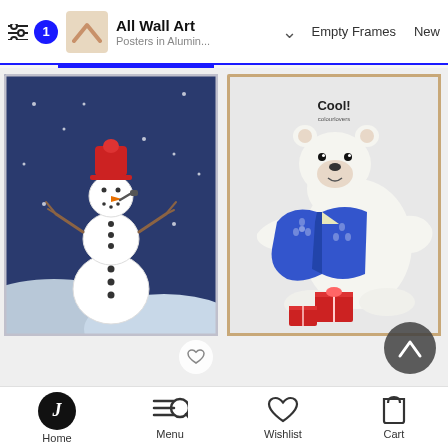All Wall Art | Posters in Alumin... | Empty Frames | New
[Figure (screenshot): Product image of Christmas 2 - snowman with red hat on blue snowy background, framed poster]
[Figure (screenshot): Product image of Cool! - polar bear holding blue Hawaiian shirt with red gift boxes, framed poster]
Christmas 2
from € 53.99 €59.99
Cool !
from € 53.99 €59.99
Home | Menu | Wishlist | Cart